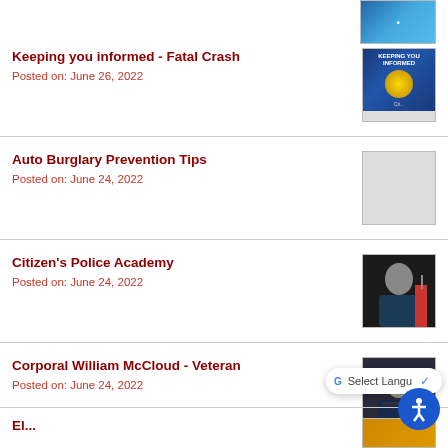[Figure (photo): Thumbnail image partially visible at top right corner]
Keeping you informed - Fatal Crash
Posted on: June 26, 2022
[Figure (photo): Keeping You Informed police badge graphic on blue background]
Auto Burglary Prevention Tips
Posted on: June 24, 2022
[Figure (photo): Dark auto burglary prevention tips graphic]
Citizen's Police Academy
Posted on: June 24, 2022
[Figure (photo): Photo of person in dark polo shirt with American flag in background]
Corporal William McCloud - Veteran
Posted on: June 24, 2022
[Figure (photo): Photo of uniformed officer]
El...